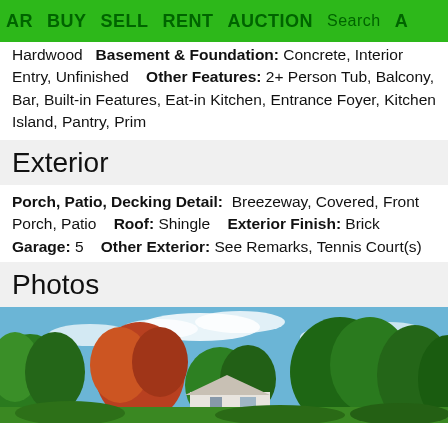AR  BUY  SELL  RENT  AUCTION  Search  A
Hardwood  Basement & Foundation: Concrete, Interior Entry, Unfinished  Other Features: 2+ Person Tub, Balcony, Bar, Built-in Features, Eat-in Kitchen, Entrance Foyer, Kitchen Island, Pantry, Prim
Exterior
Porch, Patio, Decking Detail:  Breezeway, Covered, Front Porch, Patio  Roof: Shingle  Exterior Finish: Brick  Garage: 5  Other Exterior: See Remarks, Tennis Court(s)
Photos
[Figure (photo): Exterior photo of a house surrounded by trees including a red-leafed tree and green trees, with a blue sky background]